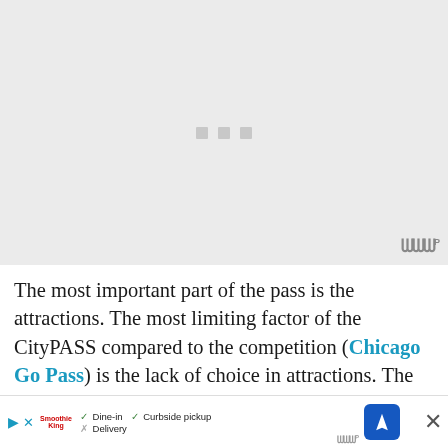[Figure (photo): Loading placeholder image area with grey background, three grey square loading dots in center, and a watermark icon in bottom right]
The most important part of the pass is the attractions. The most limiting factor of the CityPASS compared to the competition (Chicago Go Pass) is the lack of choice in attractions. The first 3 are set. If you don't like them tough, and while you can choose one of two options for each of the fourth...